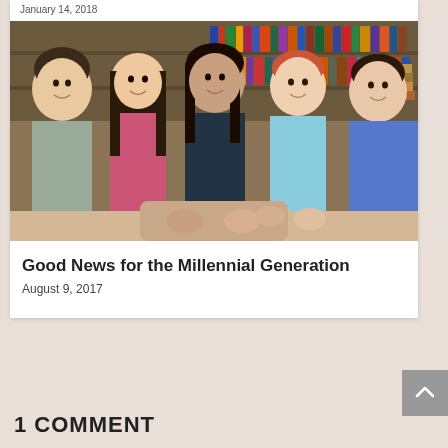January 14, 2018
[Figure (photo): Five young college students smiling together in a library setting with bookshelves in the background]
Good News for the Millennial Generation
August 9, 2017
1 COMMENT